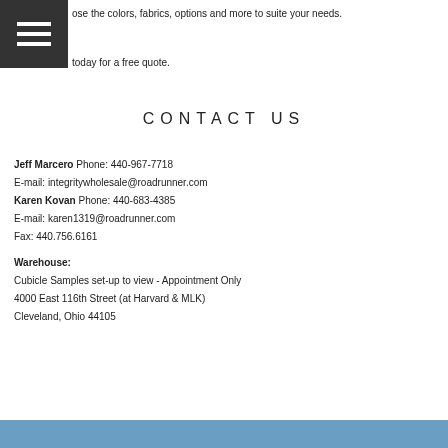[Figure (logo): Dark grey hamburger menu button icon with three horizontal white lines]
...oose the colors, fabrics, options and more to suite your needs.
...today for a free quote.
CONTACT US
Jeff Marcero Phone: 440-967-7718
E-mail: integritywholesale@roadrunner.com
Karen Kovan Phone: 440-683-4385
E-mail: karen1319@roadrunner.com
Fax: 440.756.6161
Warehouse:
Cubicle Samples set-up to view - Appointment Only
4000 East 116th Street (at Harvard & MLK)
Cleveland, Ohio 44105